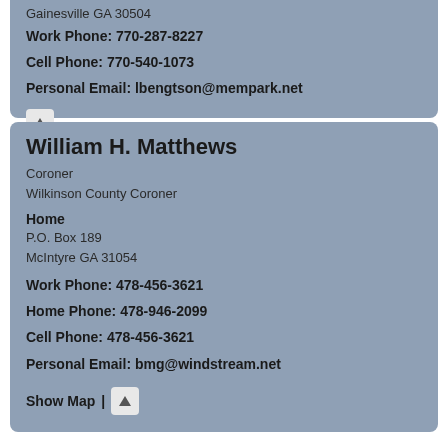Gainesville GA 30504
Work Phone: 770-287-8227
Cell Phone: 770-540-1073
Personal Email: lbengtson@mempark.net
William H. Matthews
Coroner
Wilkinson County Coroner
Home
P.O. Box 189
McIntyre GA 31054
Work Phone: 478-456-3621
Home Phone: 478-946-2099
Cell Phone: 478-456-3621
Personal Email: bmg@windstream.net
Show Map |